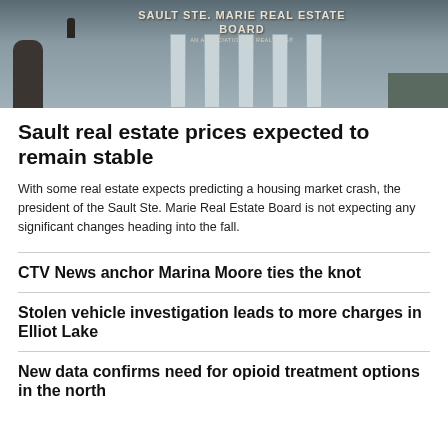[Figure (photo): Exterior photo of Sault Ste. Marie Real Estate Board building, showing a sign reading 'SAULT STE. MARIE REAL ESTATE BOARD AN ASSOCIATION OF REALTORS' with columns and entrance door visible.]
Sault real estate prices expected to remain stable
With some real estate expects predicting a housing market crash, the president of the Sault Ste. Marie Real Estate Board is not expecting any significant changes heading into the fall.
CTV News anchor Marina Moore ties the knot
Stolen vehicle investigation leads to more charges in Elliot Lake
New data confirms need for opioid treatment options in the north